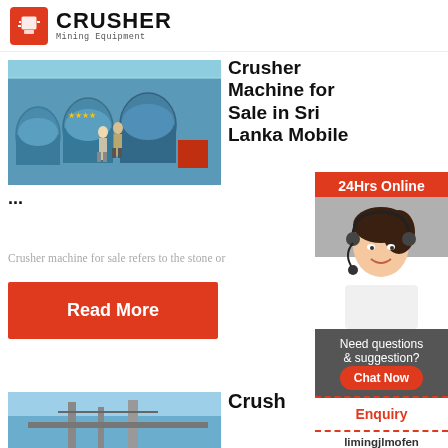CRUSHER Mining Equipment
[Figure (photo): Two workers inspecting large industrial blue crusher machines in a warehouse]
Crusher Machine for Sale in Sri Lanka Mobile...
...
Crusher machine for sale refers to the stone or
Read More
[Figure (photo): Blue sky with industrial crusher equipment structure]
Crush...
[Figure (photo): 24Hrs Online customer service representative with headset smiling]
Need questions & suggestion?
Chat Now
Enquiry
limingjlmofen@sina.com